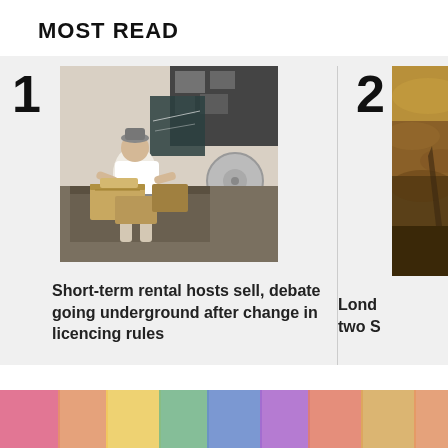MOST READ
[Figure (photo): Person packing or unpacking boxes in a room with a fan and chalkboard wall]
Short-term rental hosts sell, debate going underground after change in licencing rules
[Figure (photo): Partial view of a stormy sky, brownish tones, cropped]
Lond two S
KITCHENER >
[Figure (photo): Colorful image strip at bottom of page, blurred background]